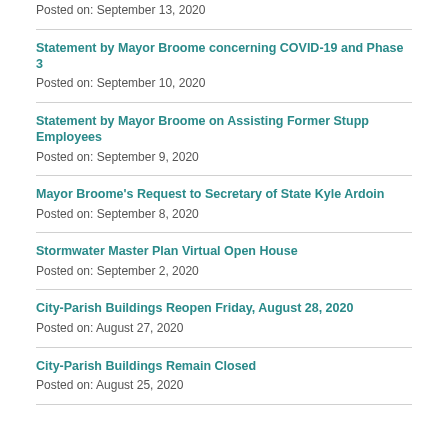Posted on: September 13, 2020
Statement by Mayor Broome concerning COVID-19 and Phase 3
Posted on: September 10, 2020
Statement by Mayor Broome on Assisting Former Stupp Employees
Posted on: September 9, 2020
Mayor Broome's Request to Secretary of State Kyle Ardoin
Posted on: September 8, 2020
Stormwater Master Plan Virtual Open House
Posted on: September 2, 2020
City-Parish Buildings Reopen Friday, August 28, 2020
Posted on: August 27, 2020
City-Parish Buildings Remain Closed
Posted on: August 25, 2020